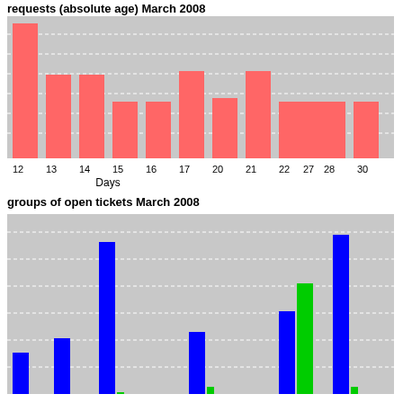[Figure (bar-chart): requests (absolute age) March 2008]
[Figure (grouped-bar-chart): groups of open tickets March 2008]